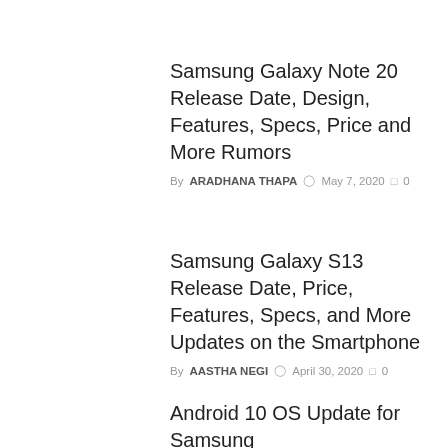Samsung Galaxy Note 20 Release Date, Design, Features, Specs, Price and More Rumors
By ARADHANA THAPA  May 7, 2020  0
Samsung Galaxy S13 Release Date, Price, Features, Specs, and More Updates on the Smartphone
By AASTHA NEGI  April 30, 2020  0
Android 10 OS Update for Samsung